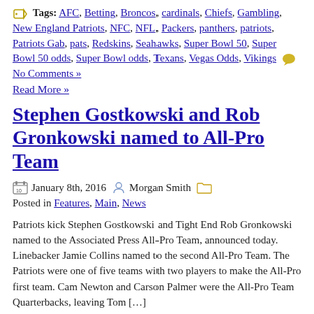Tags: AFC, Betting, Broncos, cardinals, Chiefs, Gambling, New England Patriots, NFC, NFL, Packers, panthers, patriots, Patriots Gab, pats, Redskins, Seahawks, Super Bowl 50, Super Bowl 50 odds, Super Bowl odds, Texans, Vegas Odds, Vikings  No Comments »
Read More »
Stephen Gostkowski and Rob Gronkowski named to All-Pro Team
January 8th, 2016  Morgan Smith  Posted in Features, Main, News
Patriots kick Stephen Gostkowski and Tight End Rob Gronkowski named to the Associated Press All-Pro Team, announced today. Linebacker Jamie Collins named to the second All-Pro Team. The Patriots were one of five teams with two players to make the All-Pro first team. Cam Newton and Carson Palmer were the All-Pro Team Quarterbacks, leaving Tom […]
Tags: AFC, All Pro, Associated Press, Cam Newton, cardinals, Carson Palmer, GRONK, New England Patriots, NFC, NFL, panthers, Patriots Gab, Rob Gronkowski, Steel…